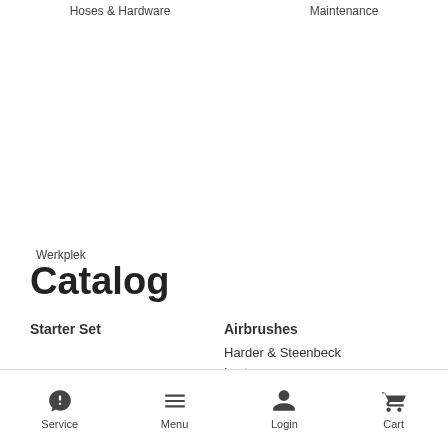Hoses & Hardware   Maintenance
Werkplek
Catalog
Starter Set
Airbrushes
Harder & Steenbeck
Iwata
Richpen
Service   Menu   Login   Cart